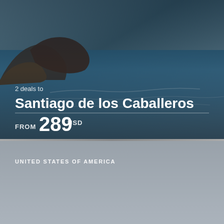[Figure (photo): Coastal/ocean scene with rocky cliffs and blue-gray water, used as background for Santiago de los Caballeros travel card]
2 deals to
Santiago de los Caballeros
FROM 289 USD
[Figure (photo): Gray gradient background for Orlando travel card]
UNITED STATES OF AMERICA
20 deals to
Orlando
FROM 50 USD
Learn more about Privacy Policy (also with reference to personal data - GDPR) - here.
Accept